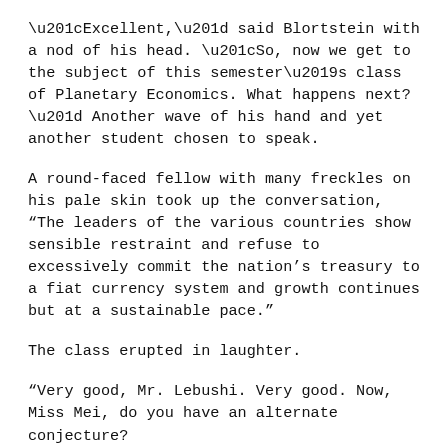“Excellent,” said Blortstein with a nod of his head. “So, now we get to the subject of this semester’s class of Planetary Economics. What happens next?” Another wave of his hand and yet another student chosen to speak.
A round-faced fellow with many freckles on his pale skin took up the conversation, “The leaders of the various countries show sensible restraint and refuse to excessively commit the nation’s treasury to a fiat currency system and growth continues but at a sustainable pace.”
The class erupted in laughter.
“Very good, Mr. Lebushi. Very good. Now, Miss Mei, do you have an alternate conjecture?
“As a crisis arises …,” she started.
“A real crisis?” asked Blortstein.
The girl smiled and shook her head with a clink-clank of her adornments. “I suppose it might be a real crisis but